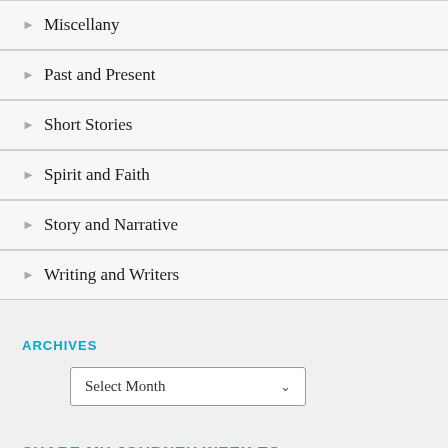Miscellany
Past and Present
Short Stories
Spirit and Faith
Story and Narrative
Writing and Writers
ARCHIVES
Select Month
SHARE MY JOURNEY WEEK TO WEEK.